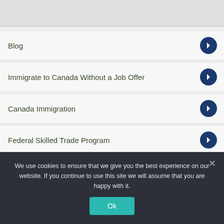[Figure (screenshot): Top grey banner area, partially visible]
Blog
Immigrate to Canada Without a Job Offer
Canada Immigration
Federal Skilled Trade Program
Canada Experience Class
Provincial Nominee Visa
Canada Work Permit
We use cookies to ensure that we give you the best experience on our website. If you continue to use this site we will assume that you are happy with it.